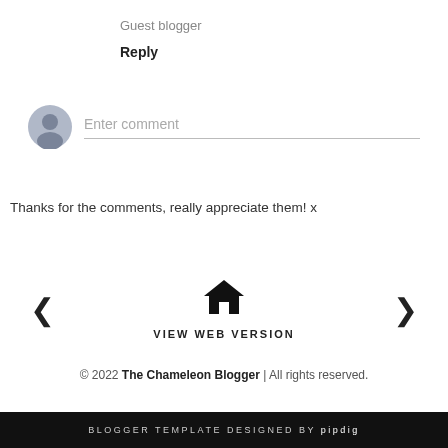Guest blogger
Reply
[Figure (other): Comment input area with user avatar icon and 'Enter comment' placeholder text with underline]
Thanks for the comments, really appreciate them! x
[Figure (other): Navigation bar with left arrow, home icon in center, right arrow, and VIEW WEB VERSION text below]
© 2022 The Chameleon Blogger | All rights reserved.
BLOGGER TEMPLATE DESIGNED BY pipdig